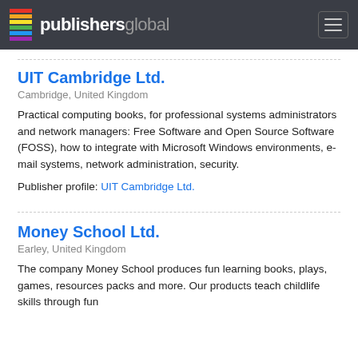publishersglobal
UIT Cambridge Ltd.
Cambridge, United Kingdom
Practical computing books, for professional systems administrators and network managers: Free Software and Open Source Software (FOSS), how to integrate with Microsoft Windows environments, e-mail systems, network administration, security.
Publisher profile: UIT Cambridge Ltd.
Money School Ltd.
Earley, United Kingdom
The company Money School produces fun learning books, plays, games, resources packs and more. Our products teach childlife skills through fun